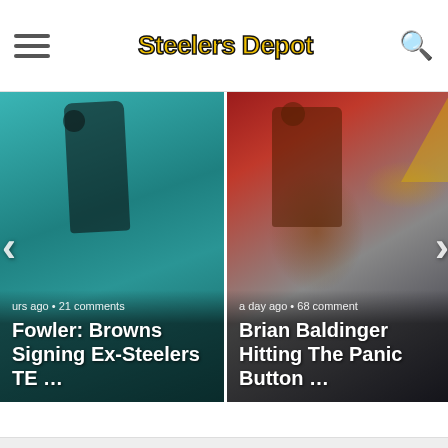Steelers Depot
[Figure (photo): Football player wearing Steelers jersey #81 running with ball, teal/blue background, card with headline 'Fowler: Browns Signing Ex-Steelers TE ...' and meta 'urs ago • 21 comments']
[Figure (photo): Man in suit on TV studio set with red/grey background, card with headline 'Brian Baldinger Hitting The Panic Button ...' and meta 'a day ago • 68 comments']